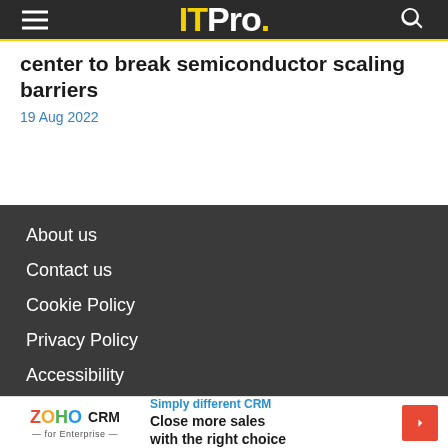ITPro.
center to break semiconductor scaling barriers
19 Aug 2022
About us
Contact us
Cookie Policy
Privacy Policy
Accessibility
[Figure (illustration): Zoho CRM advertisement banner: Simply different CRM — Close more sales with the right choice]